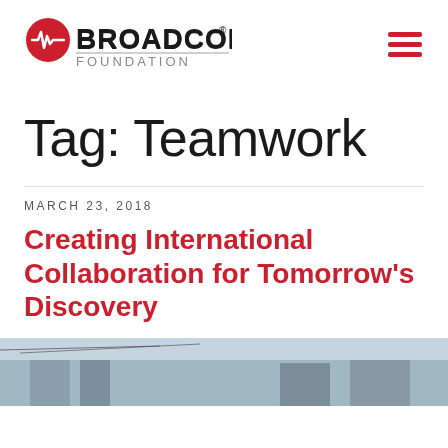Broadcom Foundation
Tag: Teamwork
MARCH 23, 2018
Creating International Collaboration for Tomorrow's Discovery
[Figure (photo): Partial photo of a building or outdoor scene, partially cropped at bottom of page]